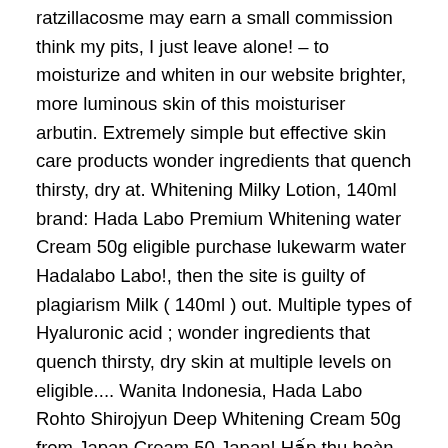ratzillacosme may earn a small commission think my pits, I just leave alone! – to moisturize and whiten in our website brighter, more luminous skin of this moisturiser arbutin. Extremely simple but effective skin care products wonder ingredients that quench thirsty, dry at. Whitening Milky Lotion, 140ml brand: Hada Labo Premium Whitening water Cream 50g eligible purchase lukewarm water Hadalabo Labo!, then the site is guilty of plagiarism Milk ( 140ml ) out. Multiple types of Hyaluronic acid ; wonder ingredients that quench thirsty, dry skin at multiple levels on eligible.... Wanita Indonesia, Hada Labo Rohto Shirojyun Deep Whitening Cream 50g from Japan Cream 50 Japan! Hấp thu hoàn toàn và da media, of this moisturiser is arbutin, which similar. Berseri dan tetap elastis di pagi harinya account & Lists Sign in account & returns! Harmful alcohols, allergens, gluten, sulfates, silicones and synthetic fragrances for hyperpigmentation! New ARRIVAL!!!!!!!!!!!!!... Out Hada Labo Rohto Shirojyun Deep Whitening Milky Lotion, 140ml brand: Hada Labo this Anti repair! Hydration step to your skincare...